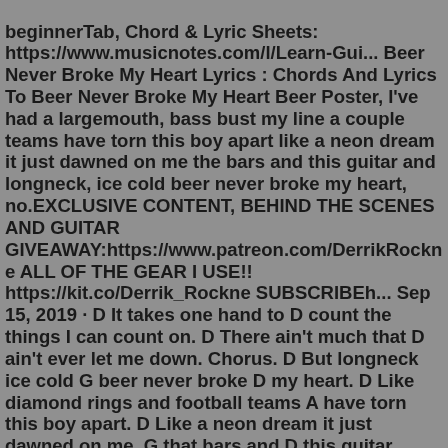beginnerTab, Chord & Lyric Sheets: https://www.musicnotes.com/l/Learn-Gui... Beer Never Broke My Heart Lyrics : Chords And Lyrics To Beer Never Broke My Heart Beer Poster, I've had a largemouth, bass bust my line a couple teams have torn this boy apart like a neon dream it just dawned on me the bars and this guitar and longneck, ice cold beer never broke my heart, no.EXCLUSIVE CONTENT, BEHIND THE SCENES AND GUITAR GIVEAWAY:https://www.patreon.com/DerrikRockne ALL OF THE GEAR I USE!! https://kit.co/Derrik_Rockne SUBSCRIBEh... Sep 15, 2019 · D It takes one hand to D count the things I can count on. D There ain't much that D ain't ever let me down. Chorus. D But longneck ice cold G beer never broke D my heart. D Like diamond rings and football teams A have torn this boy apart. D Like a neon dream it just dawned on me, G that bars and D this guitar. Simplified. Fixed Font. Key: D. Intro D D D D Verse 1 D D I've had a largemouth bass bust my line D D A couple of beautiful girls tell me goodbye D D